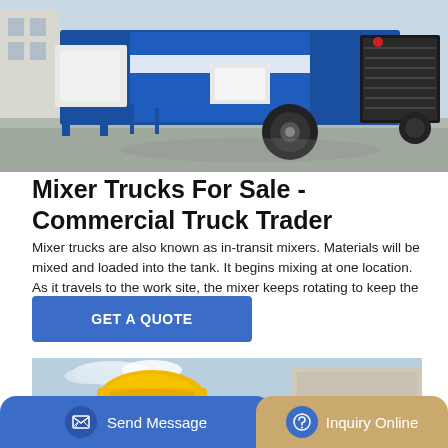[Figure (photo): Blue and white concrete mixer truck / pump machine on a paved surface outdoors]
Mixer Trucks For Sale - Commercial Truck Trader
Mixer trucks are also known as in-transit mixers. Materials will be mixed and loaded into the tank. It begins mixing at one location. As it travels to the work site, the mixer keeps rotating to keep the concrete …
[Figure (other): Button: GET A QUOTE (blue)]
[Figure (photo): Partial view of yellow concrete mixer truck in front of a building]
[Figure (other): Bottom navigation bar with Send Message and Inquiry Online buttons]